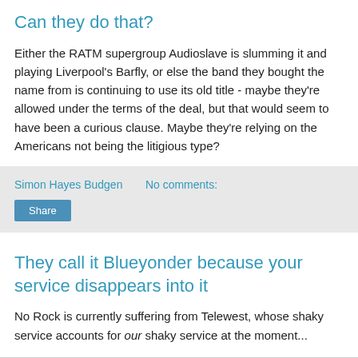Can they do that?
Either the RATM supergroup Audioslave is slumming it and playing Liverpool's Barfly, or else the band they bought the name from is continuing to use its old title - maybe they're allowed under the terms of the deal, but that would seem to have been a curious clause. Maybe they're relying on the Americans not being the litigious type?
Simon Hayes Budgen   No comments:
Share
They call it Blueyonder because your service disappears into it
No Rock is currently suffering from Telewest, whose shaky service accounts for our shaky service at the moment...